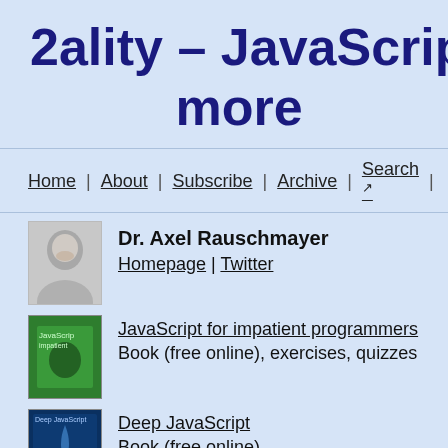2ality – JavaScript and more
Home | About | Subscribe | Archive | Search
[Figure (photo): Portrait photo of Dr. Axel Rauschmayer]
Dr. Axel Rauschmayer
Homepage | Twitter
[Figure (photo): Cover of JavaScript for impatient programmers book (green cover)]
JavaScript for impatient programmers
Book (free online), exercises, quizzes
[Figure (photo): Cover of Deep JavaScript book (dark blue cover)]
Deep JavaScript
Book (free online)
[Figure (photo): Cover of Tackling TypeScript book (white/gray cover)]
Tackling TypeScript
Book (free online)